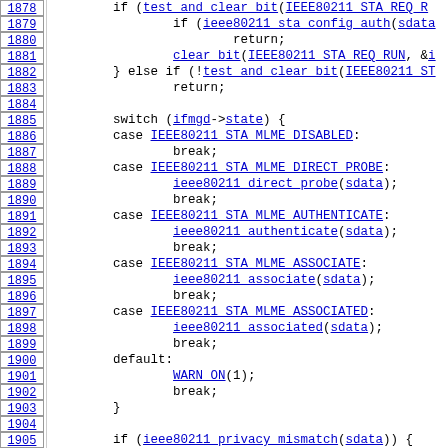[Figure (screenshot): Source code listing with line numbers 1878-1908 showing a C function with switch statement handling IEEE80211 STA MLME states]